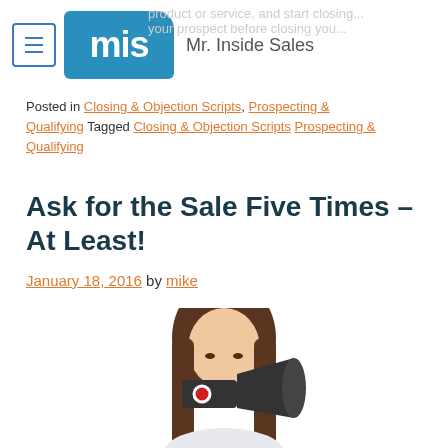Mr. Inside Sales
Posted in Closing & Objection Scripts, Prospecting & Qualifying Tagged Closing & Objection Scripts Prospecting & Qualifying
Ask for the Sale Five Times – At Least!
January 18, 2016 by mike
[Figure (photo): Woman with long brown hair holding a megaphone in front of her face on a white background]